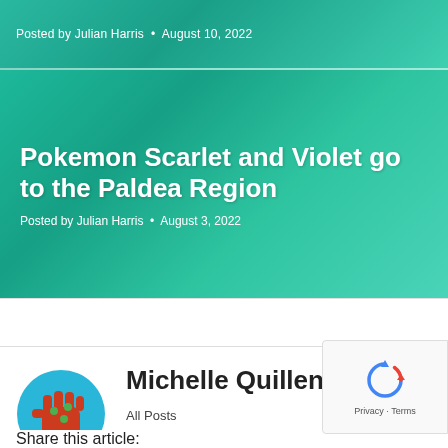Posted by Julian Harris · August 10, 2022
Pokemon Scarlet and Violet go to the Paldea Region
Posted by Julian Harris · August 3, 2022
[Figure (logo): Circular logo with a red raised fist holding a game controller on a cyan/blue background]
Michelle Quillen
All Posts
Share this article:
[Figure (other): Google reCAPTCHA badge showing recycling-arrow icon with Privacy · Terms text]